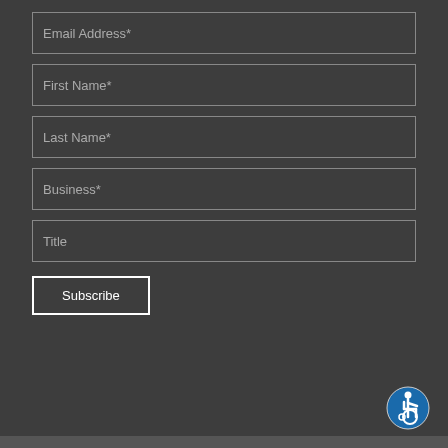Email Address*
First Name*
Last Name*
Business*
Title
Subscribe
[Figure (illustration): Accessibility icon - person in wheelchair in circular badge, blue circle with white figure]